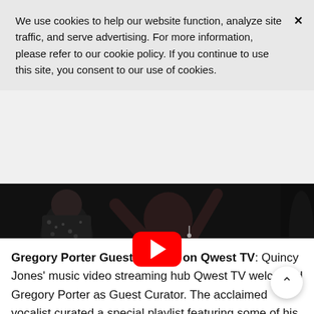We use cookies to help our website function, analyze site traffic, and serve advertising. For more information, please refer to our cookie policy. If you continue to use this site, you consent to our use of cookies.
[Figure (photo): Video thumbnail showing a person in a purple sequined dress with arms raised, dark background, with a YouTube red play button overlay in the center]
Gregory Porter Guest Curator on Qwest TV: Quincy Jones' music video streaming hub Qwest TV welcomed Gregory Porter as Guest Curator. The acclaimed vocalist curated a special playlist featuring some of his